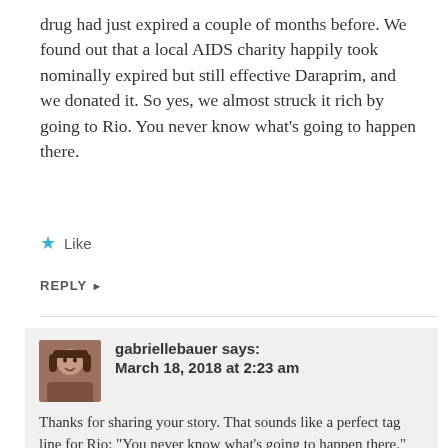drug had just expired a couple of months before. We found out that a local AIDS charity happily took nominally expired but still effective Daraprim, and we donated it. So yes, we almost struck it rich by going to Rio. You never know what's going to happen there.
★ Like
REPLY ▶
gabriellebauer says: March 18, 2018 at 2:23 am
Thanks for sharing your story. That sounds like a perfect tag line for Rio: “You never know what’s going to happen there.”